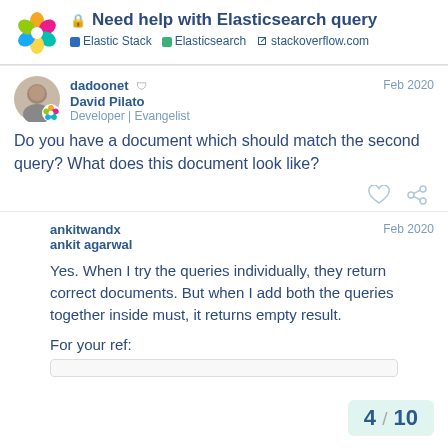Need help with Elasticsearch query — Elastic Stack | Elasticsearch | stackoverflow.com
[Figure (other): User avatar photo for dadoonet (David Pilato)]
dadoonet 🛡
David Pilato
Developer | Evangelist
Feb 2020
Do you have a document which should match the second query? What does this document look like?
ankitwandx
ankit agarwal
Feb 2020
Yes. When I try the queries individually, they return correct documents. But when I add both the queries together inside must, it returns empty result.
For your ref:
4 / 10